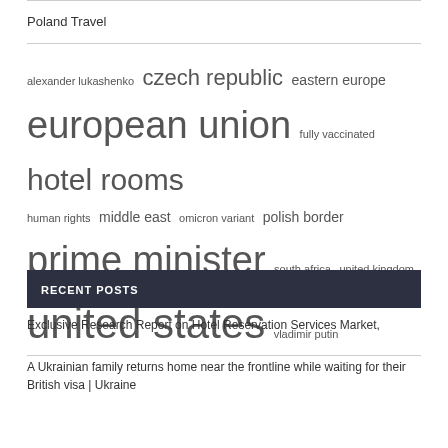Poland Services
Poland Travel
alexander lukashenko  czech republic  eastern europe  european union  fully vaccinated  hotel rooms  human rights  middle east  omicron variant  polish border  prime minister  south africa  united kingdom  united states  vladimir putin
RECENT POSTS
Exclusive Research Report on Hotel Reservation Services Market,
A Ukrainian family returns home near the frontline while waiting for their British visa | Ukraine